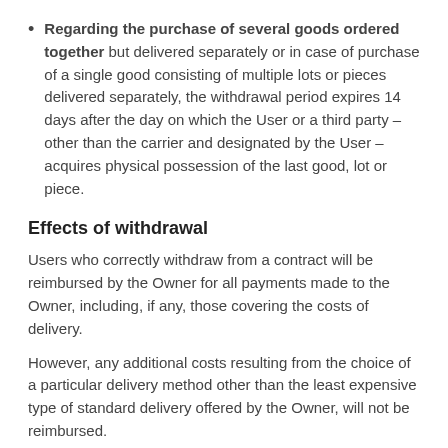Regarding the purchase of several goods ordered together but delivered separately or in case of purchase of a single good consisting of multiple lots or pieces delivered separately, the withdrawal period expires 14 days after the day on which the User or a third party – other than the carrier and designated by the User – acquires physical possession of the last good, lot or piece.
Effects of withdrawal
Users who correctly withdraw from a contract will be reimbursed by the Owner for all payments made to the Owner, including, if any, those covering the costs of delivery.
However, any additional costs resulting from the choice of a particular delivery method other than the least expensive type of standard delivery offered by the Owner, will not be reimbursed.
Such reimbursement shall be made without undue delay and, in any event, no later than 14 days from the day on which the Owner is informed of the User's decision to withdraw from the